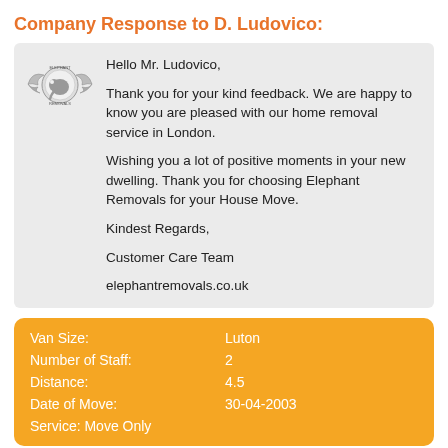Company Response to D. Ludovico:
Hello Mr. Ludovico,

Thank you for your kind feedback. We are happy to know you are pleased with our home removal service in London.

Wishing you a lot of positive moments in your new dwelling. Thank you for choosing Elephant Removals for your House Move.

Kindest Regards,

Customer Care Team

elephantremovals.co.uk
| Van Size: | Luton |
| Number of Staff: | 2 |
| Distance: | 4.5 |
| Date of Move: | 30-04-2003 |
| Service: Move Only |  |